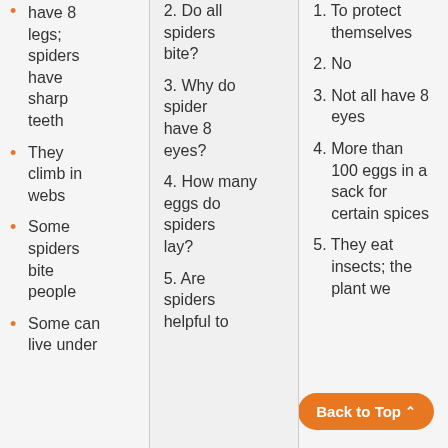have 8 legs; spiders have sharp teeth
They climb in webs
Some spiders bite people
Some can live under
2. Do all spiders bite?
3. Why do spider have 8 eyes?
4. How many eggs do spiders lay?
5. Are spiders helpful to
1. To protect themselves
2. No
3. Not all have 8 eyes
4. More than 100 eggs in a sack for certain spices
5. They eat insects; the plant we